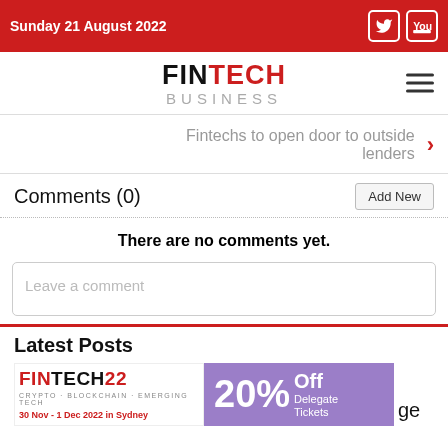Sunday 21 August 2022
[Figure (logo): FINTECH BUSINESS logo with hamburger menu icon]
Fintechs to open door to outside lenders
Comments (0)
There are no comments yet.
Leave a comment
Latest Posts
[Figure (infographic): FINTECH22 CRYPTO BLOCKCHAIN EMERGING TECH 30 Nov - 1 Dec 2022 in Sydney | 20% Off Delegate Tickets]